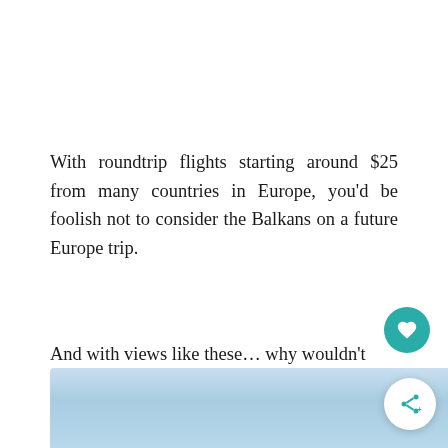With roundtrip flights starting around $25 from many countries in Europe, you'd be foolish not to consider the Balkans on a future Europe trip.
And with views like these... why wouldn't you plan your Balkans vacation?
[Figure (photo): Partial view of a scenic sky with light blue tones, likely a Balkans landscape.]